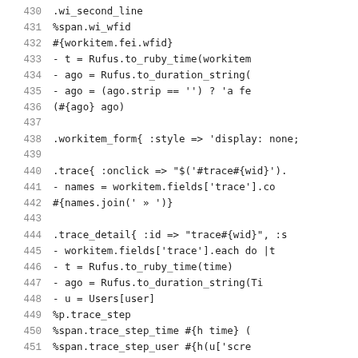[Figure (screenshot): Code editor screenshot showing lines 430–451 of a Ruby/Haml template file with line numbers on the left and code content on the right, using monospace font on white background.]